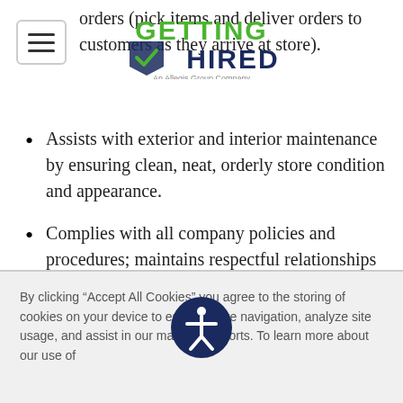[Figure (logo): Getting Hired logo - green text with checkmark, An Allegis Group Company subtitle]
orders (pick items and deliver orders to customers as they arrive at store).
Assists with exterior and interior maintenance by ensuring clean, neat, orderly store condition and appearance.
Complies with all company policies and procedures; maintains respectful relationships with coworkers.
Completes special assignments and other tasks as assigned.
Training & Personal Development
Attends training and completes PPLs
By clicking “Accept All Cookies” you agree to the storing of cookies on your device to enhance site navigation, analyze site usage, and assist in our marketing efforts. To learn more about our use of